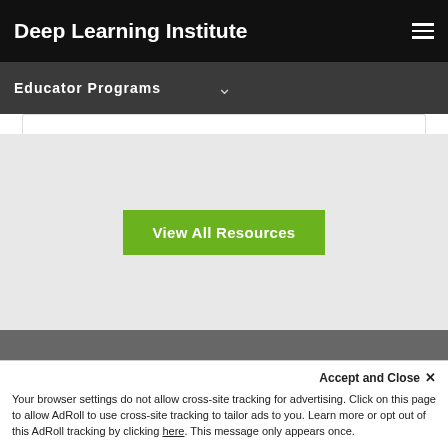Deep Learning Institute
Educator Programs
View All Resources
Questions?
Accept and Close ×
Your browser settings do not allow cross-site tracking for advertising. Click on this page to allow AdRoll to use cross-site tracking to tailor ads to you. Learn more or opt out of this AdRoll tracking by clicking here. This message only appears once.